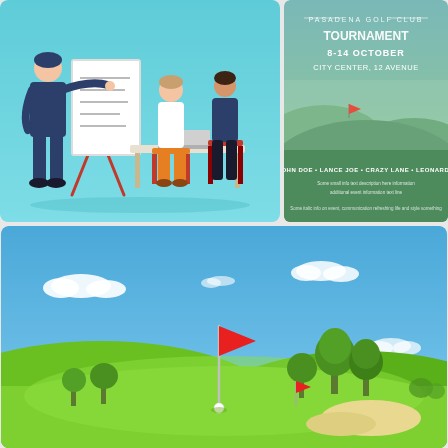[Figure (illustration): Flat design illustration of a business presentation: a man in a suit pointing at a whiteboard/flipchart, with two colleagues seated at a desk — one in orange pants, one in dark clothes — against a light teal background with rounded corners.]
[Figure (illustration): Golf club event poster with teal gradient background. Text reads 'PASADENA GOLF CLUB' at top, '8-14 OCTOBER', 'CITY CENTER, 12 AVENUE'. Shows rolling green hills with a red flag. Names listed: 'JOHN DOE • LANCE JOE • CRAZY LANE • LEONARDO'. Additional small text lines below.]
[Figure (illustration): Wide landscape illustration of a sunny golf course: bright blue sky with white fluffy clouds, lush green rolling fairway, trees on the right, a red pennant flag on a flagstick in the center-left, a white golf ball on the green, and a sand bunker in the foreground right.]